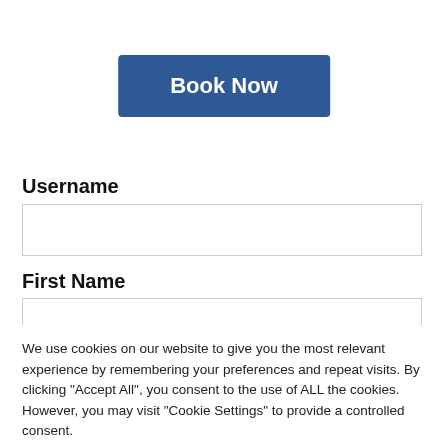[Figure (screenshot): A blue 'Book Now' button centered on the page]
Username
[Figure (screenshot): Empty username text input field]
First Name
[Figure (screenshot): Partially visible empty First Name text input field]
We use cookies on our website to give you the most relevant experience by remembering your preferences and repeat visits. By clicking "Accept All", you consent to the use of ALL the cookies. However, you may visit "Cookie Settings" to provide a controlled consent.
Cookie Settings
Accept All